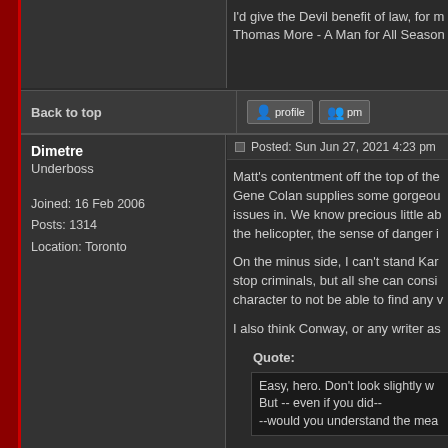I'd give the Devil benefit of law, for my own safety's sake. - Thomas More - A Man for All Seasons
Back to top
profile | pm
Dimetre
Underboss

Joined: 16 Feb 2006
Posts: 1314
Location: Toronto
Posted: Sun Jun 27, 2021 4:23 pm
Matt's contentment off the top of the Gene Colan supplies some gorgeous issues in. We know precious little ab the helicopter, the sense of danger i
On the minus side, I can't stand Kar stop criminals, but all she can consi character to not be able to find any w
I also think Conway, or any writer as
Quote:
Easy, hero. Don't look slightly w
But -- even if you did--
--would you understand the mea
Matt is blind. His eyes don't work. Th
But it's Conway's overwriting that rea